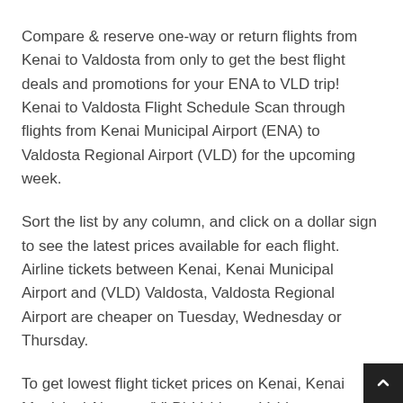Compare & reserve one-way or return flights from Kenai to Valdosta from only to get the best flight deals and promotions for your ENA to VLD trip! Kenai to Valdosta Flight Schedule Scan through flights from Kenai Municipal Airport (ENA) to Valdosta Regional Airport (VLD) for the upcoming week.
Sort the list by any column, and click on a dollar sign to see the latest prices available for each flight. Airline tickets between Kenai, Kenai Municipal Airport and (VLD) Valdosta, Valdosta Regional Airport are cheaper on Tuesday, Wednesday or Thursday.
To get lowest flight ticket prices on Kenai, Kenai Municipal Airport - (VLD) Valdosta, Valdosta Regional Airport - compare more dates: start again with comparison and book much cheaper airline ticket.
Bagging a cheap flight from Valdosta to Kenai may mean more dollars to spend on for one-of-a-kind souvenirs when you arrive, but it doesn't mean you have to skimp on your travel experience as Expedia offers a sizzling selection of cheap airlines that'll